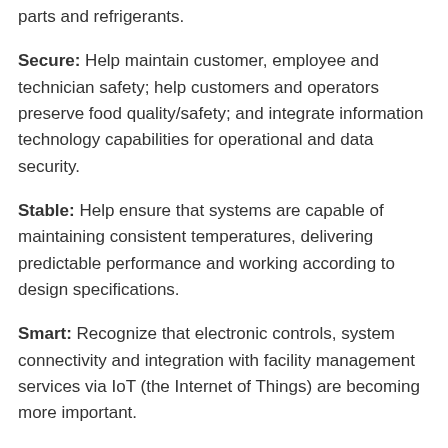parts and refrigerants.
Secure: Help maintain customer, employee and technician safety; help customers and operators preserve food quality/safety; and integrate information technology capabilities for operational and data security.
Stable: Help ensure that systems are capable of maintaining consistent temperatures, delivering predictable performance and working according to design specifications.
Smart: Recognize that electronic controls, system connectivity and integration with facility management services via IoT (the Internet of Things) are becoming more important.
Sustainable: Realize that lower-GWP refrigeration